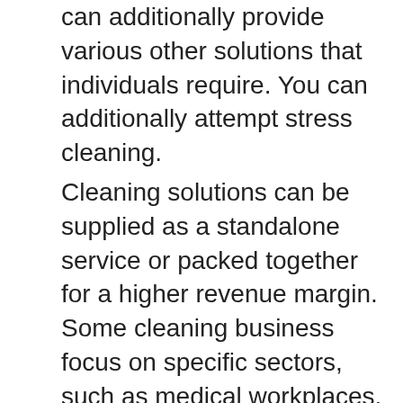can additionally provide various other solutions that individuals require. You can additionally attempt stress cleaning.
Cleaning solutions can be supplied as a standalone service or packed together for a higher revenue margin. Some cleaning business focus on specific sectors, such as medical workplaces. Others provide single cleans up and on-going maintenance programs. As well as obviously, you'll have to pay for their labor. Nevertheless, there are companies that will certainly clean up any type of type of business. Whether you're searching for one-time cleansing or a day-to-day cleaning, there are lots of alternatives for you to pick from.